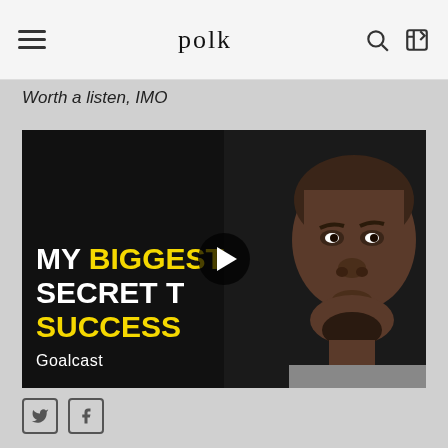polk
Worth a listen, IMO
[Figure (screenshot): Video thumbnail showing text 'MY BIGGEST SECRET TO SUCCESS' with white and yellow bold text on black background, and a man's face on the right side. A play button is centered. 'Goalcast' branding at bottom left.]
Social media share icons: Twitter and Facebook